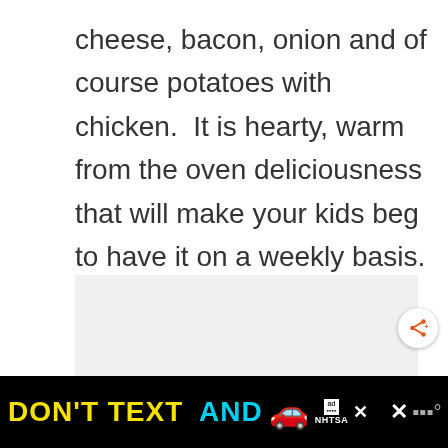cheese, bacon, onion and of course potatoes with chicken.  It is hearty, warm from the oven deliciousness that will make your kids beg to have it on a weekly basis.
[Figure (other): Gray advertisement placeholder box]
[Figure (other): Share button with orange share icon and plus sign, white circular button]
[Figure (other): Black footer banner ad: DON'T TEXT AND [car emoji] with ad badge and NHTSA logo, followed by X close button and weather app icon]